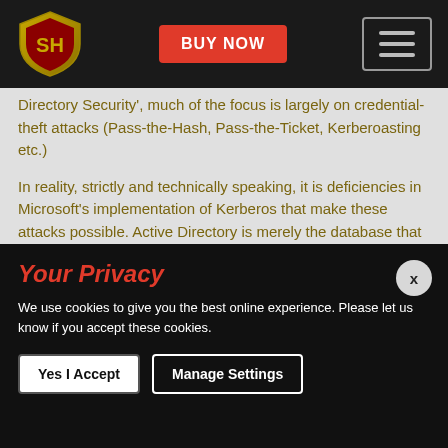Navigation bar with logo, BUY NOW button, and hamburger menu
Directory Security', much of the focus is largely on credential-theft attacks (Pass-the-Hash, Pass-the-Ticket, Kerberoasting etc.)
In reality, strictly and technically speaking, it is deficiencies in Microsoft's implementation of Kerberos that make these attacks possible. Active Directory is merely the database that the KDC uses as its account database. Yes, indeed the KDC Service runs on domain-controllers, but if you think hard about it, Active Directory has nothing to do with these attacks, barring the fact that these attacks could be used to compromise Active Directory accounts.
Your Privacy
We use cookies to give you the best online experience. Please let us know if you accept these cookies.
Yes I Accept | Manage Settings